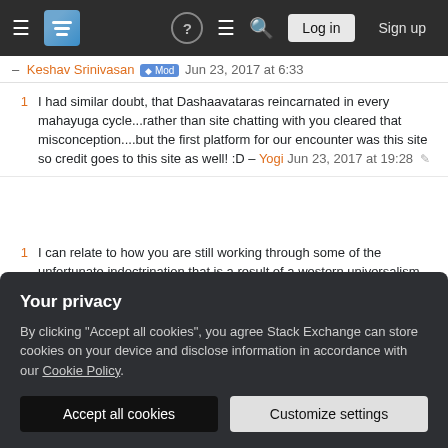Stack Exchange navigation bar with Log in and Sign up buttons
– Keshav Srinivasan [Mod] Jun 23, 2017 at 6:33
1  I had similar doubt, that Dashaavataras reincarnated in every mahayuga cycle...rather than site chatting with you cleared that misconception....but the first platform for our encounter was this site so credit goes to this site as well! :D – Yogi Jun 23, 2017 at 19:28
1  I can relate to how you are still working through some of the unfortunate indoctrination that is a result of a western universalism mindset. Let's keep chipping away at it! – DirghaChintayanti Jun 24, 2017 at 5:21
6  "birth of Kalki which had a date at the top, August 17,
Your privacy
By clicking "Accept all cookies", you agree Stack Exchange can store cookies on your device and disclose information in accordance with our Cookie Policy.
Accept all cookies  Customize settings
at 16:03